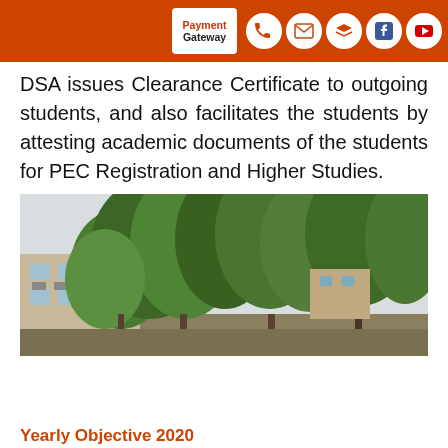Payment Gateway [header bar with icons]
DSA issues Clearance Certificate to outgoing students, and also facilitates the students by attesting academic documents of the students for PEC Registration and Higher Studies.
[Figure (photo): Campus building exterior with trees in foreground against a light sky. A beige/cream building is visible on the left with large green trees filling most of the frame.]
Yearly Objective 2020